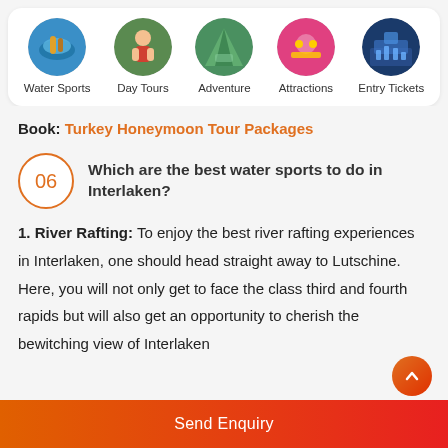[Figure (infographic): Five circular category icons in a white card: Water Sports, Day Tours, Adventure, Attractions, Entry Tickets]
Book: Turkey Honeymoon Tour Packages
06 Which are the best water sports to do in Interlaken?
1. River Rafting: To enjoy the best river rafting experiences in Interlaken, one should head straight away to Lutschine. Here, you will not only get to face the class third and fourth rapids but will also get an opportunity to cherish the bewitching view of Interlaken
Send Enquiry